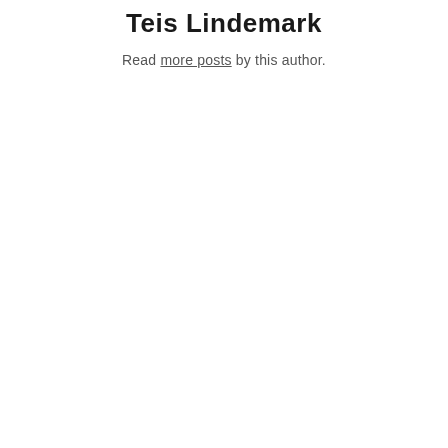Teis Lindemark
Read more posts by this author.